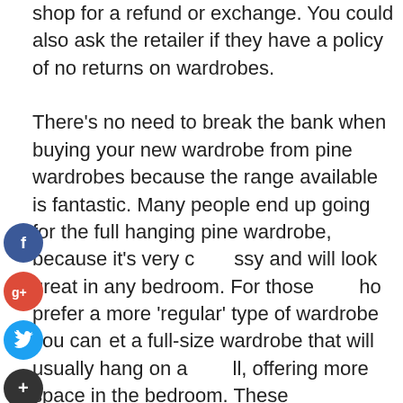shop for a refund or exchange. You could also ask the retailer if they have a policy of no returns on wardrobes.

There's no need to break the bank when buying your new wardrobe from pine wardrobes because the range available is fantastic. Many people end up going for the full hanging pine wardrobe, because it's very classy and will look great in any bedroom. For those who prefer a more 'regular' type of wardrobe you can get a full-size wardrobe that will usually hang on a wall, offering more space in the bedroom. These wardrobes are usually quite basic in design, with a good solid pine frame and a choice of various wood finishes. It's worth taking a look at some examples of the different wardrobes before committing to
[Figure (other): Social sharing buttons: Facebook (blue circle with f), Google+ (red circle with g+), Twitter (blue circle with bird icon), Add/Plus (dark circle with +)]